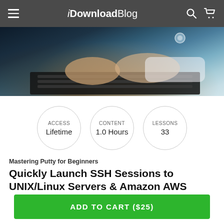iDownloadBlog
[Figure (photo): Person typing on a laptop keyboard, close-up of hands, dark background with blue network overlay lighting]
ACCESS Lifetime | CONTENT 1.0 Hours | LESSONS 33
Mastering Putty for Beginners
Quickly Launch SSH Sessions to UNIX/Linux Servers & Amazon AWS Linux Virtual Machine Setup
By Coding Gears | In Online Courses
ADD TO CART ($25)